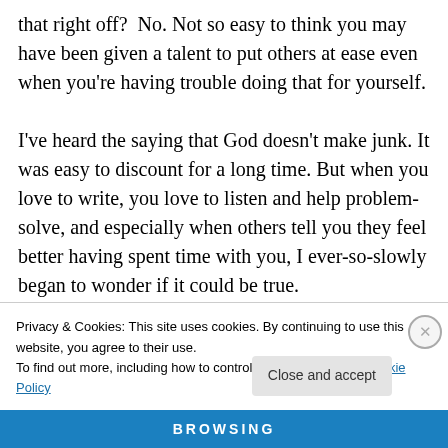that right off? No. Not so easy to think you may have been given a talent to put others at ease even when you're having trouble doing that for yourself.

I've heard the saying that God doesn't make junk. It was easy to discount for a long time. But when you love to write, you love to listen and help problem-solve, and especially when others tell you they feel better having spent time with you, I ever-so-slowly began to wonder if it could be true.
Privacy & Cookies: This site uses cookies. By continuing to use this website, you agree to their use.
To find out more, including how to control cookies, see here: Cookie Policy
BROWSING